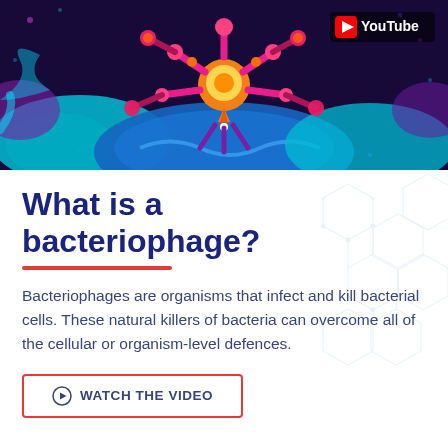[Figure (illustration): YouTube thumbnail showing a colorful animated bacteriophage illustration — a spider-like virus with orange/yellow body, pink/magenta legs, on a dark navy/purple background with teal and blue organic shapes. YouTube logo visible in top-right corner.]
What is a bacteriophage?
Bacteriophages are organisms that infect and kill bacterial cells. These natural killers of bacteria can overcome all of the cellular or organism-level defences.
WATCH THE VIDEO